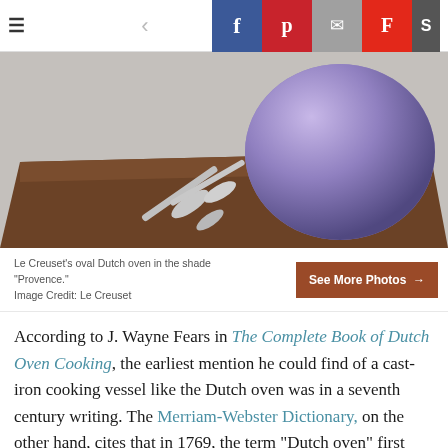≡  <  f  p  ✉  F  S
[Figure (photo): Photo of a purple Le Creuset oval Dutch oven on a dark wooden cutting board with a silver spoon beside it, on a grey surface.]
Le Creuset's oval Dutch oven in the shade "Provence."
Image Credit: Le Creuset
According to J. Wayne Fears in The Complete Book of Dutch Oven Cooking, the earliest mention he could find of a cast-iron cooking vessel like the Dutch oven was in a seventh century writing. The Merriam-Webster Dictionary, on the other hand, cites that in 1769, the term "Dutch oven" first appeared in print. They are referencing a copy of the Augusta County, Virginia